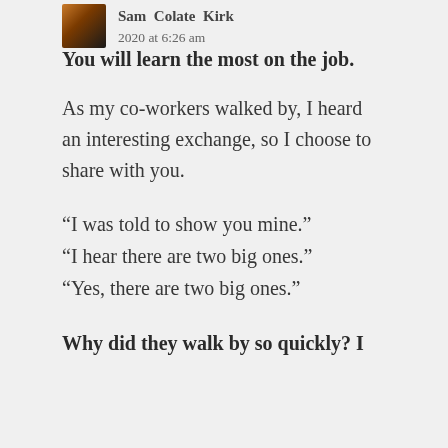Sam Colate Kirk — February 1, 2020 at 6:26 am
You will learn the most on the job.
As my co-workers walked by, I heard an interesting exchange, so I choose to share with you.
“I was told to show you mine.” “I hear there are two big ones.” “Yes, there are two big ones.”
Why did they walk by so quickly? I